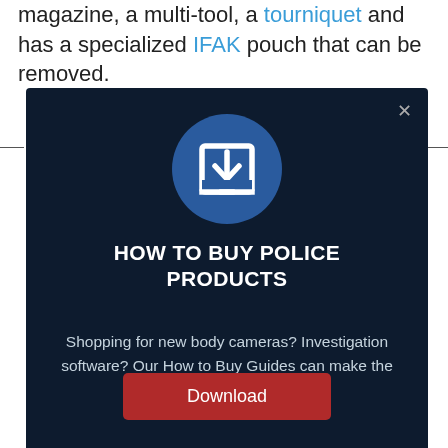magazine, a multi-tool, a tourniquet and has a specialized IFAK pouch that can be removed.
[Figure (screenshot): A modal dialog on a dark navy background. At the top center is a blue circle with a white download/import icon (bracket with downward arrow). Below the icon is the heading 'HOW TO BUY POLICE PRODUCTS' in white bold uppercase. Below that is body text: 'Shopping for new body cameras? Investigation software? Our How to Buy Guides can make the process a little easier.' At the bottom is a red 'Download' button. A close (×) button is in the top right corner of the modal.]